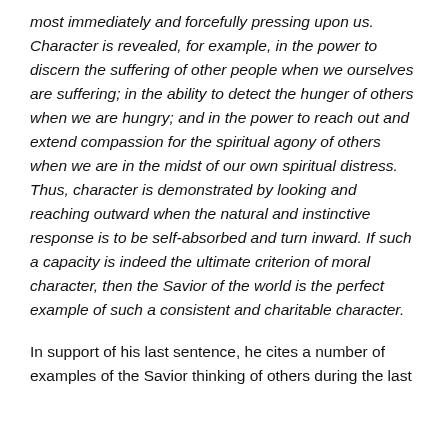most immediately and forcefully pressing upon us. Character is revealed, for example, in the power to discern the suffering of other people when we ourselves are suffering; in the ability to detect the hunger of others when we are hungry; and in the power to reach out and extend compassion for the spiritual agony of others when we are in the midst of our own spiritual distress. Thus, character is demonstrated by looking and reaching outward when the natural and instinctive response is to be self-absorbed and turn inward. If such a capacity is indeed the ultimate criterion of moral character, then the Savior of the world is the perfect example of such a consistent and charitable character.
In support of his last sentence, he cites a number of examples of the Savior thinking of others during the last